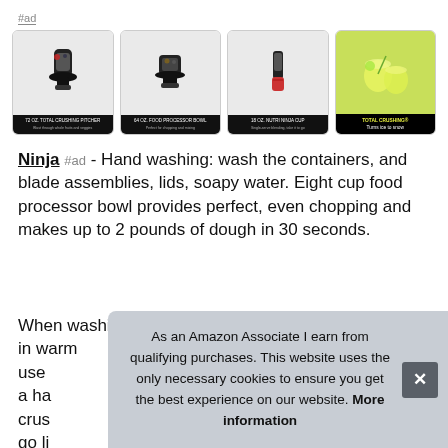#ad
[Figure (screenshot): Four product images in cards: 72oz Total Crushing Pitcher, 64oz Food Processor Bowl, 18oz Nutri Ninja Cup, and Total Crushing cocktail photo]
Ninja #ad - Hand washing: wash the containers, and blade assemblies, lids, soapy water. Eight cup food processor bowl provides perfect, even chopping and makes up to 2 pounds of dough in 30 seconds.
When washing the blade assemblies and blade discs, in warm use a ha crus go li drinks to take on the go.
As an Amazon Associate I earn from qualifying purchases. This website uses the only necessary cookies to ensure you get the best experience on our website. More information